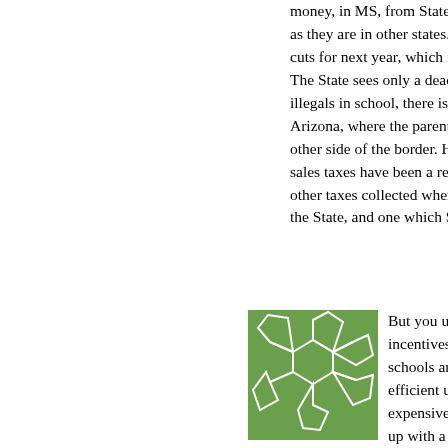money, in MS, from State In… as they are in other states. M… cuts for next year, which is bi… The State sees only a dead e… illegals in school, there is ver… Arizona, where the parents a… other side of the border. Here… sales taxes have been a real… other taxes collected when fo… the State, and one which Sta…
[Figure (illustration): Green square icon with white geometric polygon/soccer-ball-like pattern]
But you understand that the i… incentives. For example, in IL… schools an incentive to haul k… efficient use of buildings -- ev… expensive depending on the … up with a lot more kids whose… 4-5 hours every day riding ar…
It also gives district an incent… schools to repair and what sc… move the kids with somebody…